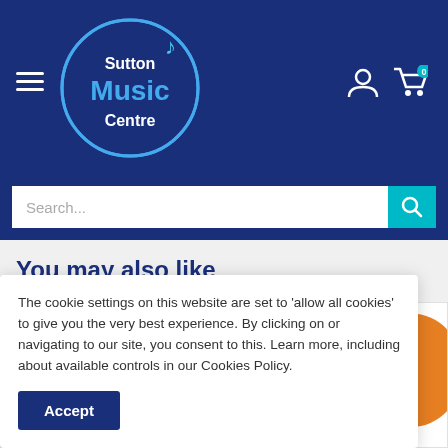[Figure (logo): Sutton Music Centre logo — oval shape with blue background, music note, text 'Sutton Music Centre']
You may also like
[Figure (photo): Colorful guitar picks in green, yellow, black-patterned, red colors displayed on white background]
[Figure (photo): Colorful guitar picks in red and orange partially visible on right side]
The cookie settings on this website are set to ‘allow all cookies’ to give you the very best experience. By clicking on or navigating to our site, you consent to this. Learn more, including about available controls in our Cookies Policy.